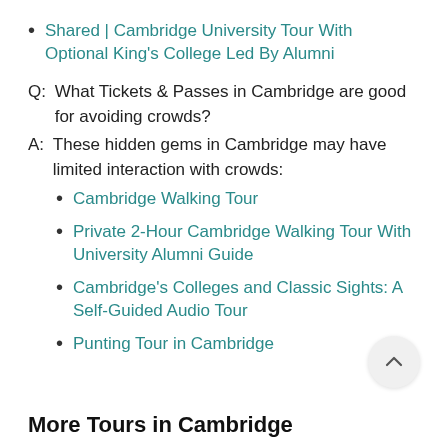Shared | Cambridge University Tour With Optional King's College Led By Alumni
Q: What Tickets & Passes in Cambridge are good for avoiding crowds?
A: These hidden gems in Cambridge may have limited interaction with crowds:
Cambridge Walking Tour
Private 2-Hour Cambridge Walking Tour With University Alumni Guide
Cambridge's Colleges and Classic Sights: A Self-Guided Audio Tour
Punting Tour in Cambridge
More Tours in Cambridge